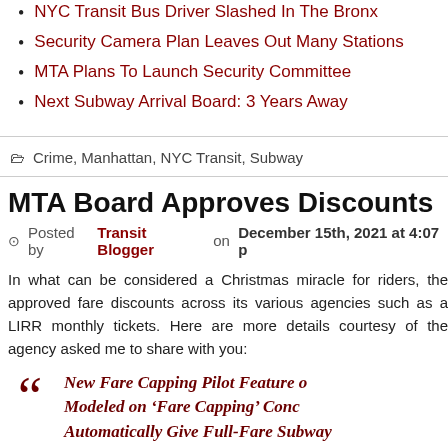NYC Transit Bus Driver Slashed In The Bronx
Security Camera Plan Leaves Out Many Stations
MTA Plans To Launch Security Committee
Next Subway Arrival Board: 3 Years Away
Crime, Manhattan, NYC Transit, Subway
MTA Board Approves Discounts
Posted by Transit Blogger on December 15th, 2021 at 4:07 p
In what can be considered a Christmas miracle for riders, the approved fare discounts across its various agencies such as a LIRR monthly tickets. Here are more details courtesy of the agency asked me to share with you:
New Fare Capping Pilot Feature o Modeled on ‘Fare Capping’ Conc Automatically Give Full-Fare Subway Customers the Best Fare Possible – E Question of Whether to Pre-Purchase an  Ride Plan or Pay Per Ride